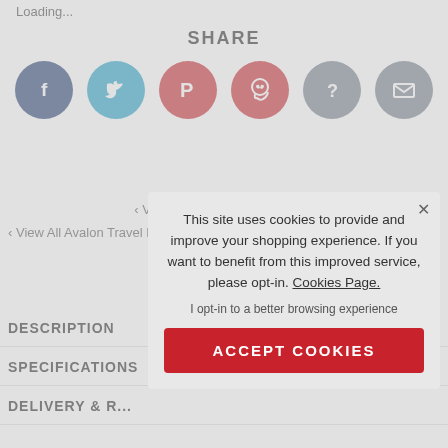Loading...
SHARE
[Figure (infographic): Row of 6 circular social share buttons: Facebook (dark blue, f icon), Twitter (cyan, bird icon), Pinterest (red, P icon), WhatsApp (red, phone icon), Question/Share (grey, ? icon), Email (grey, envelope icon)]
‹ View All Avalon Travel Guides
‹ View All Avalon Travel Publishing (Moon & Rick Steves Travel...
‹ V
‹
DESCRIPTION
SPECIFICATIONS
DELIVERY & R...
This site uses cookies to provide and improve your shopping experience. If you want to benefit from this improved service, please opt-in. Cookies Page.
I opt-in to a better browsing experience
ACCEPT COOKIES